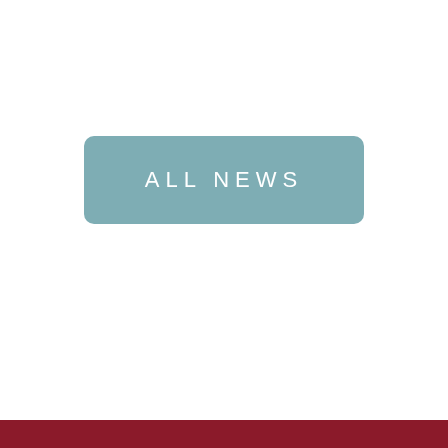ALL NEWS
[Figure (infographic): Brochure advertisement panel with school publication covers (aspire, above & beyond, achieve) and text asking to learn more about St. Luke's School, with a download button]
Want to learn more about St. Luke's School?
DOWNLOAD OUR BROCHURE